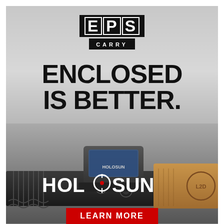[Figure (photo): Holosun EPS Carry advertisement showing a Holosun enclosed pistol sight mounted on a pistol slide. The background is a gradient gray. At the top is the EPS CARRY logo in a black box. In the middle is large bold black text reading ENCLOSED IS BETTER. The bottom half shows a photorealistic image of the Holosun EPS Carry optic mounted on a pistol slide with a bronze/tan L2D grip. The Holosun brand logo appears at the bottom in white, and a red LEARN MORE button is at the very bottom.]
EPS CARRY
ENCLOSED IS BETTER.
HOLOSUN
LEARN MORE